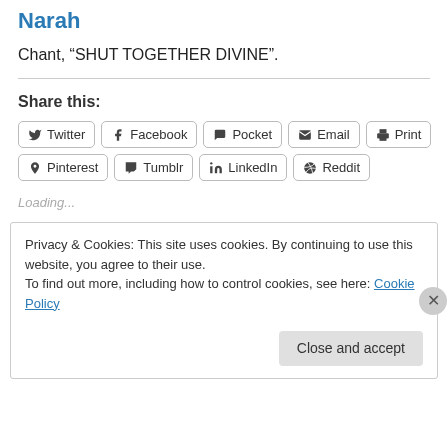Narah
Chant, “SHUT TOGETHER DIVINE”.
Share this:
Twitter
Facebook
Pocket
Email
Print
Pinterest
Tumblr
LinkedIn
Reddit
Loading...
Privacy & Cookies: This site uses cookies. By continuing to use this website, you agree to their use.
To find out more, including how to control cookies, see here: Cookie Policy